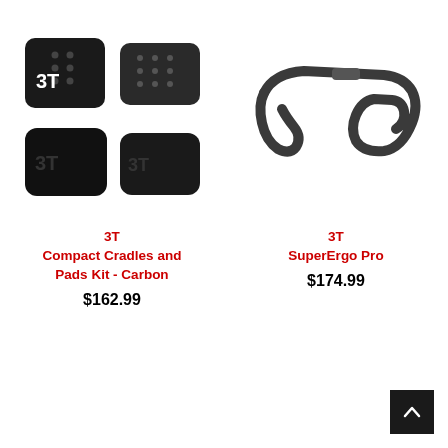[Figure (photo): Four black 3T Compact Cradles and Pads Kit - Carbon components shown: two carbon cradle pieces (top row) and two rubber pad pieces (bottom row), all matte black with 3T branding]
3T
Compact Cradles and Pads Kit - Carbon
$162.99
[Figure (photo): 3T SuperErgo Pro dark grey/black road bicycle handlebar, drop bar style, shown from the side]
3T
SuperErgo Pro
$174.99